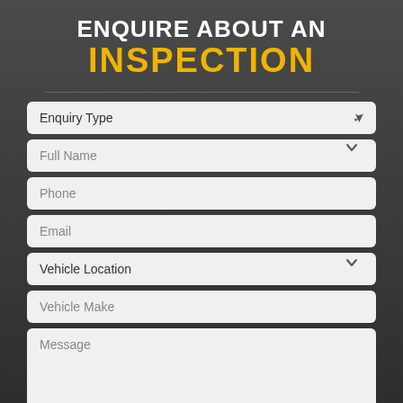ENQUIRE ABOUT AN INSPECTION
Enquiry Type
Full Name
Phone
Email
Vehicle Location
Vehicle Make
Message
ENQUIRE NOW
We will never share your information with any 3rd parties. View our Privacy